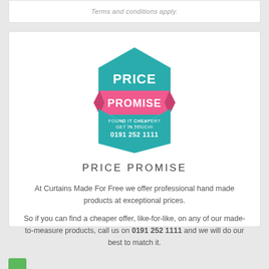Terms and conditions apply.
[Figure (logo): Price Promise badge: teal hexagon shape with 'PRICE' in white bold text, pink ribbon banner with 'PROMISE' in white bold text, lower hexagon section with 'FOUND IT CHEAPER? GET IN TOUCH! 0191 252 1111' in white text]
PRICE PROMISE
At Curtains Made For Free we offer professional hand made products at exceptional prices.
So if you can find a cheaper offer, like-for-like, on any of our made-to-measure products, call us on 0191 252 1111 and we will do our best to match it.